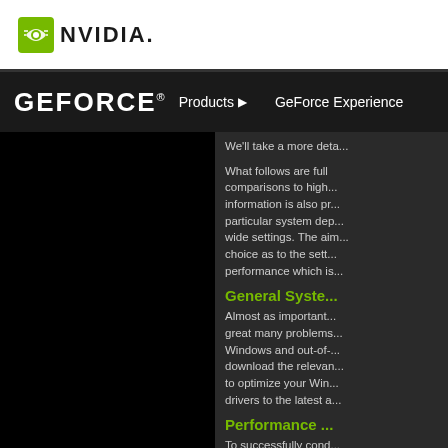[Figure (logo): NVIDIA logo with green eye icon and NVIDIA wordmark]
GEFORCE® Products ▶ GeForce Experience
We'll take a more deta...
What follows are full comparisons to high... information is also pr... particular system dep... wide settings. The aim... choice as to the sett... performance which is...
General Syste...
Almost as important... great many problems... Windows and out-of-... download the relevan... to optimize your Win... drivers to the latest a...
Performance ...
To successfully cond... your performance in l... which provides s...